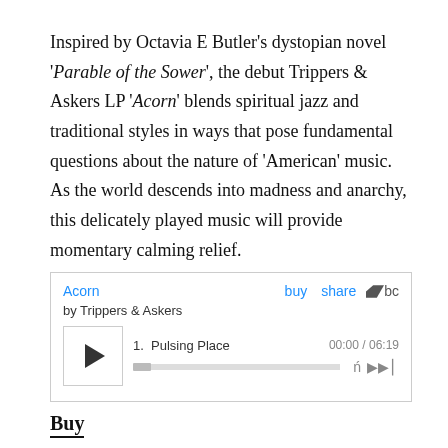Inspired by Octavia E Butler's dystopian novel 'Parable of the Sower', the debut Trippers & Askers LP 'Acorn' blends spiritual jazz and traditional styles in ways that pose fundamental questions about the nature of 'American' music. As the world descends into madness and anarchy, this delicately played music will provide momentary calming relief.
[Figure (screenshot): Bandcamp embedded music player widget showing album 'Acorn' by Trippers & Askers. Contains album title link, buy and share links, Bandcamp logo, artist name, track list row with play button, track name '1. Pulsing Place', timestamp '00:00 / 06:19', progress bar, and playback controls.]
Buy